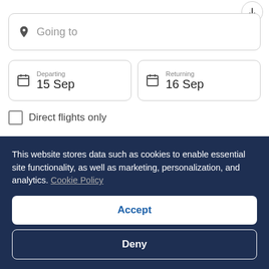Going to
Departing 15 Sep
Returning 16 Sep
Direct flights only
1 traveller
Economy
This website stores data such as cookies to enable essential site functionality, as well as marketing, personalization, and analytics. Cookie Policy
Accept
Deny